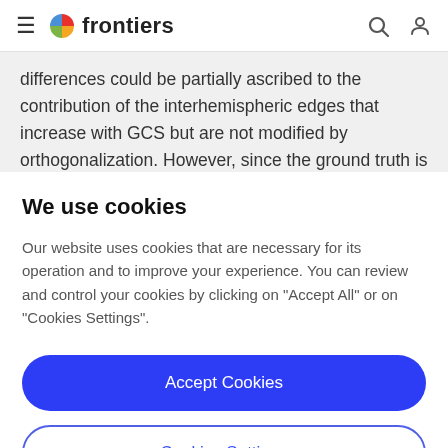≡  frontiers
differences could be partially ascribed to the contribution of the interhemispheric edges that increase with GCS but are not modified by orthogonalization. However, since the ground truth is unknown, fully proving this claim
We use cookies
Our website uses cookies that are necessary for its operation and to improve your experience. You can review and control your cookies by clicking on "Accept All" or on "Cookies Settings".
Accept Cookies
Cookies Settings